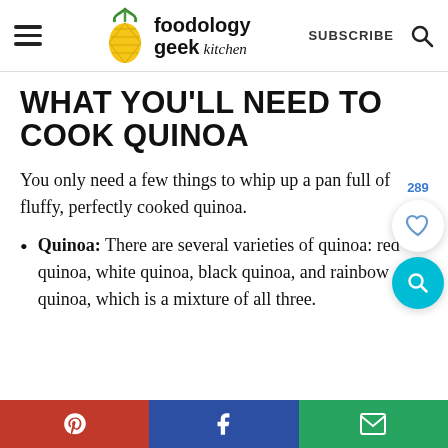foodology geek kitchen | SUBSCRIBE
WHAT YOU'LL NEED TO COOK QUINOA
You only need a few things to whip up a pan full of fluffy, perfectly cooked quinoa.
Quinoa: There are several varieties of quinoa: red quinoa, white quinoa, black quinoa, and rainbow quinoa, which is a mixture of all three.
Pinterest | Facebook | Email share buttons